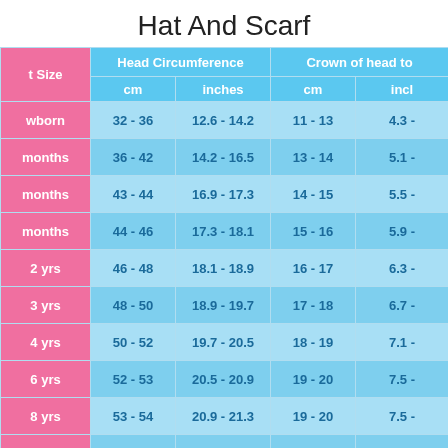Hat And Scarf
| t Size | Head Circumference cm | Head Circumference inches | Crown of head to cm | Crown of head to inch |
| --- | --- | --- | --- | --- |
| wborn | 32 - 36 | 12.6 - 14.2 | 11 - 13 | 4.3 - |
| months | 36 - 42 | 14.2 - 16.5 | 13 - 14 | 5.1 - |
| months | 43 - 44 | 16.9 - 17.3 | 14 - 15 | 5.5 - |
| months | 44 - 46 | 17.3 - 18.1 | 15 - 16 | 5.9 - |
| 2 yrs | 46 - 48 | 18.1 - 18.9 | 16 - 17 | 6.3 - |
| 3 yrs | 48 - 50 | 18.9 - 19.7 | 17 - 18 | 6.7 - |
| 4 yrs | 50 - 52 | 19.7 - 20.5 | 18 - 19 | 7.1 - |
| 6 yrs | 52 - 53 | 20.5 - 20.9 | 19 - 20 | 7.5 - |
| 8 yrs | 53 - 54 | 20.9 - 21.3 | 19 - 20 | 7.5 - |
| 8+ | 54 - 58 | 21.3 - 22.8 | 19 - 22 | 7.5 - |
Hat Size Conversion Chart Hat sizes for the